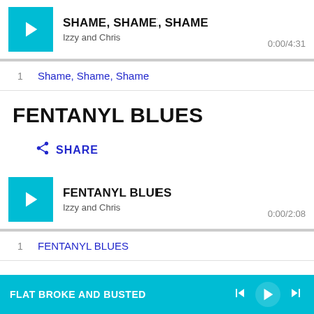[Figure (screenshot): Music player card for 'SHAME, SHAME, SHAME' by Izzy and Chris with teal play button, showing time 0:00/4:31 and a gray progress bar]
1  Shame, Shame, Shame
FENTANYL BLUES
SHARE
[Figure (screenshot): Music player card for 'FENTANYL BLUES' by Izzy and Chris with teal play button, showing time 0:00/2:08 and a gray progress bar]
1  FENTANYL BLUES
FLAT BROKE AND BUSTED